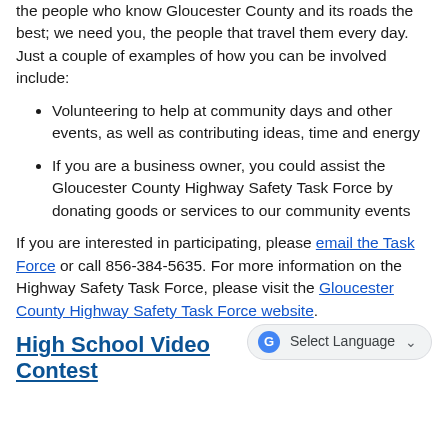the people who know Gloucester County and its roads the best; we need you, the people that travel them every day. Just a couple of examples of how you can be involved include:
Volunteering to help at community days and other events, as well as contributing ideas, time and energy
If you are a business owner, you could assist the Gloucester County Highway Safety Task Force by donating goods or services to our community events
If you are interested in participating, please email the Task Force or call 856-384-5635. For more information on the Highway Safety Task Force, please visit the Gloucester County Highway Safety Task Force website.
High School Video Contest